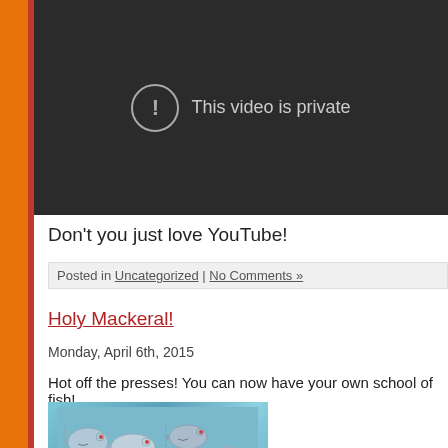[Figure (screenshot): Dark video player area showing 'This video is private' message with an exclamation mark icon in a circle]
Don't you just love YouTube!
Posted in Uncategorized | No Comments »
Holy Mackeral!
Monday, April 6th, 2015
Hot off the presses! You can now have your own school of fish!
[Figure (photo): Photo of fish sock puppets or stuffed fish toys arranged on a blue background]